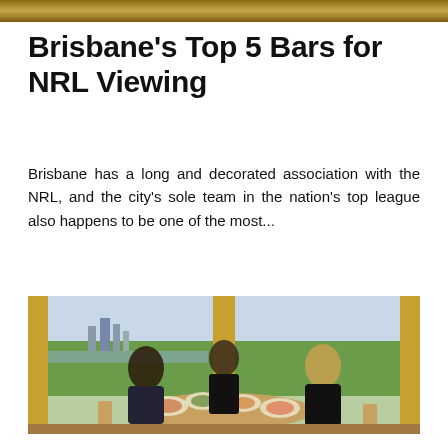[Figure (photo): Decorative top banner strip showing warm toned texture]
Brisbane's Top 5 Bars for NRL Viewing
Brisbane has a long and decorated association with the NRL, and the city's sole team in the nation's top league also happens to be one of the most...
[Figure (photo): Three women dining at a round table with food and drinks in a high-rise restaurant with panoramic city and green views through floor-to-ceiling windows]